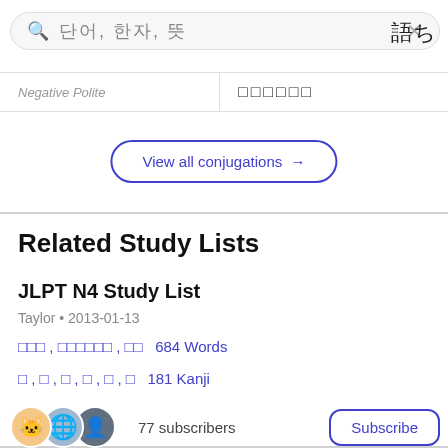[Figure (screenshot): Search bar with Japanese placeholder text, X clear button, and translate icon]
| Negative Polite |  |
| --- | --- |
| Negative Polite | □□□□□□ |
View all conjugations →
Related Study Lists
JLPT N4 Study List
Taylor • 2013-01-13
□□□ , □□□□□□ , □□  684 Words
□ , □ , □ , □ , □ , □  181 Kanji
77 subscribers